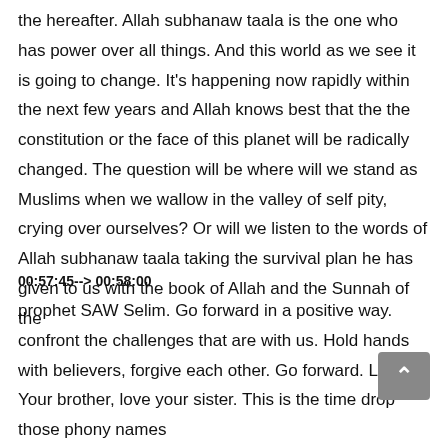the hereafter. Allah subhanaw taala is the one who has power over all things. And this world as we see it is going to change. It's happening now rapidly within the next few years and Allah knows best that the the constitution or the face of this planet will be radically changed. The question will be where will we stand as Muslims when we wallow in the valley of self pity, crying over ourselves? Or will we listen to the words of Allah subhanaw taala taking the survival plan he has given to us with the book of Allah and the Sunnah of the
00:57:45--> 00:58:00
prophet SAW Selim. Go forward in a positive way. confront the challenges that are with us. Hold hands with believers, forgive each other. Go forward. Love Your brother, love your sister. This is the time drop those phony names